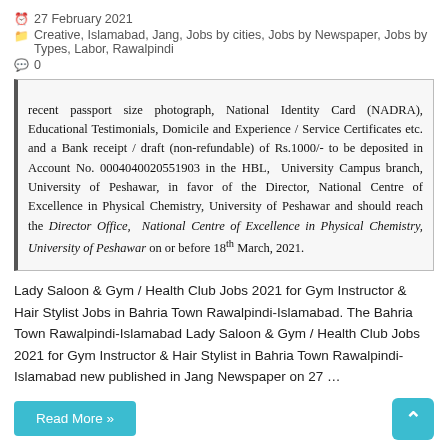27 February 2021
Creative, Islamabad, Jang, Jobs by cities, Jobs by Newspaper, Jobs by Types, Labor, Rawalpindi
0
[Figure (screenshot): Newspaper clipping showing text about application requirements including recent passport size photograph, National Identity Card (NADRA), Educational Testimonials, Domicile and Experience / Service Certificates etc. and a Bank receipt / draft (non-refundable) of Rs.1000/- to be deposited in Account No. 0004040020551903 in the HBL, University Campus branch, University of Peshawar, in favor of the Director, National Centre of Excellence in Physical Chemistry, University of Peshawar and should reach the Director Office, National Centre of Excellence in Physical Chemistry, University of Peshawar on or before 18th March, 2021. In-service candidates should apply through proper channel. They]
Lady Saloon & Gym / Health Club Jobs 2021 for Gym Instructor & Hair Stylist Jobs in Bahria Town Rawalpindi-Islamabad. The Bahria Town Rawalpindi-Islamabad Lady Saloon & Gym / Health Club Jobs 2021 for Gym Instructor & Hair Stylist in Bahria Town Rawalpindi-Islamabad new published in Jang Newspaper on 27 …
Read More »
^